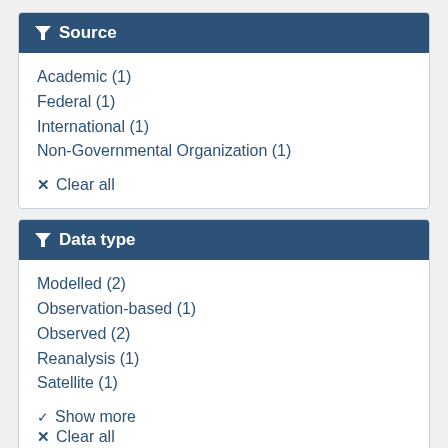Source
Academic (1)
Federal (1)
International (1)
Non-Governmental Organization (1)
✕ Clear all
Data type
Modelled (2)
Observation-based (1)
Observed (2)
Reanalysis (1)
Satellite (1)
✔ Show more
✕ Clear all